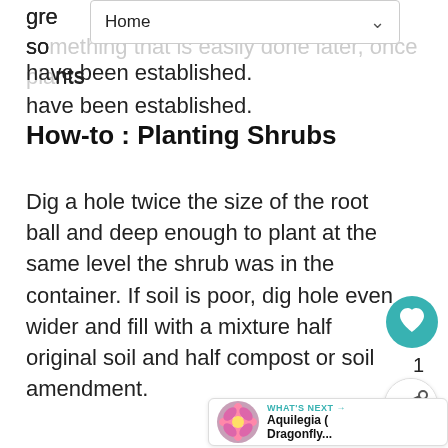Home
gre… something that is easily done later, once plants have been established.
How-to : Planting Shrubs
Dig a hole twice the size of the root ball and deep enough to plant at the same level the shrub was in the container. If soil is poor, dig hole even wider and fill with a mixture half original soil and half compost or soil amendment.
[Figure (other): Like/favorite button (heart icon, teal circle) with count of 1]
[Figure (other): Share button (share icon, white circle)]
[Figure (other): What's Next card with flower image and text 'Aquilegia (Dragonfly...']